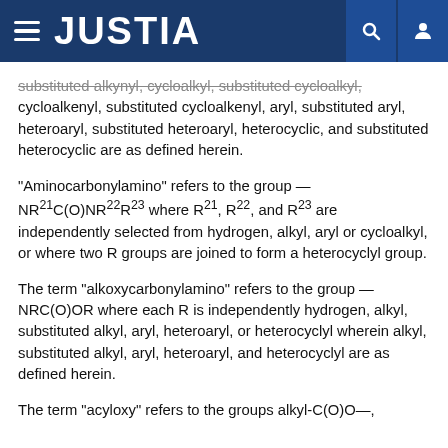JUSTIA
substituted alkynyl, cycloalkyl, substituted cycloalkyl, cycloalkenyl, substituted cycloalkenyl, aryl, substituted aryl, heteroaryl, substituted heteroaryl, heterocyclic, and substituted heterocyclic are as defined herein.
“Aminocarbonylamino” refers to the group — NR21C(O)NR22R23 where R21, R22, and R23 are independently selected from hydrogen, alkyl, aryl or cycloalkyl, or where two R groups are joined to form a heterocyclyl group.
The term “alkoxycarbonylamino” refers to the group — NRC(O)OR where each R is independently hydrogen, alkyl, substituted alkyl, aryl, heteroaryl, or heterocyclyl wherein alkyl, substituted alkyl, aryl, heteroaryl, and heterocyclyl are as defined herein.
The term “acyloxy” refers to the groups alkyl-C(O)O—,